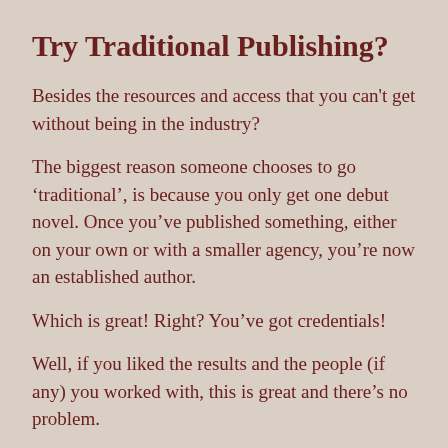Try Traditional Publishing?
Besides the resources and access that you can't get without being in the industry?
The biggest reason someone chooses to go 'traditional', is because you only get one debut novel. Once you've published something, either on your own or with a smaller agency, you're now an established author.
Which is great! Right? You've got credentials!
Well, if you liked the results and the people (if any) you worked with, this is great and there's no problem.
BUT. If you think you might ever want to go